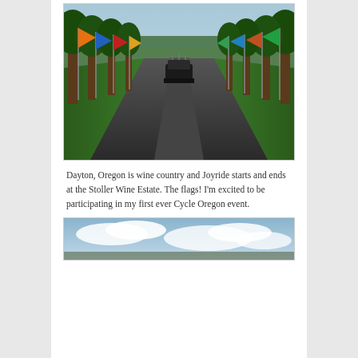[Figure (photo): A straight road lined with tall trees and colorful flags on poles leading into the distance, with a vehicle visible mid-distance. Green grass on both sides. Sky visible at the horizon.]
Dayton, Oregon is wine country and Joyride starts and ends at the Stoller Wine Estate. The flags! I’m excited to be participating in my first ever Cycle Oregon event.
[Figure (photo): Partial view of a sky with clouds, likely a landscape or outdoor scene, cropped at the bottom of the page.]